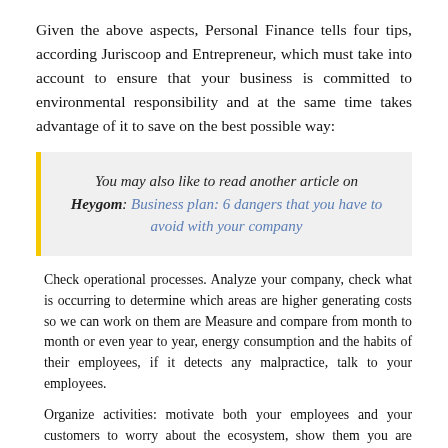Given the above aspects, Personal Finance tells four tips, according Juriscoop and Entrepreneur, which must take into account to ensure that your business is committed to environmental responsibility and at the same time takes advantage of it to save on the best possible way:
You may also like to read another article on Heygom: Business plan: 6 dangers that you have to avoid with your company
Check operational processes. Analyze your company, check what is occurring to determine which areas are higher generating costs so we can work on them are Measure and compare from month to month or even year to year, energy consumption and the habits of their employees, if it detects any malpractice, talk to your employees.
Organize activities: motivate both your employees and your customers to worry about the ecosystem, show them you are doing your business in sustainable measures, this will help the